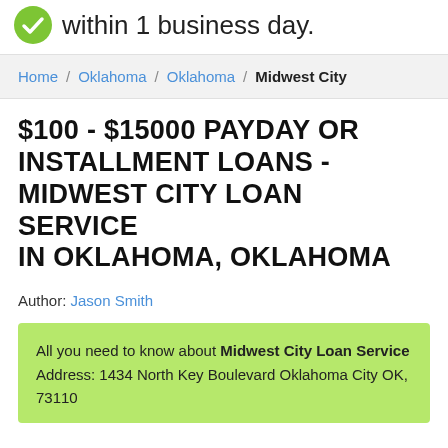within 1 business day.
Home / Oklahoma / Oklahoma / Midwest City
$100 - $15000 PAYDAY OR INSTALLMENT LOANS - MIDWEST CITY LOAN SERVICE IN OKLAHOMA, OKLAHOMA
Author: Jason Smith
All you need to know about Midwest City Loan Service
Address: 1434 North Key Boulevard Oklahoma City OK, 73110